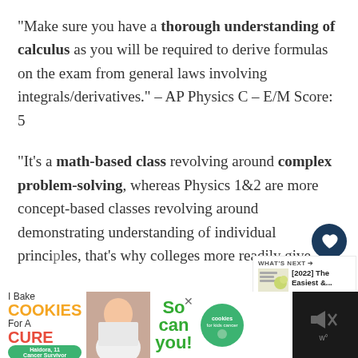“Make sure you have a thorough understanding of calculus as you will be required to derive formulas on the exam from general laws involving integrals/derivatives.” – AP Physics C – E/M Score: 5
“It’s a math-based class revolving around complex problem-solving, whereas Physics 1&2 are more concept-based classes revolving around demonstrating understanding of individual principles, that’s why colleges more readily give
[Figure (other): Advertisement banner: I Bake COOKIES For A CURE with image of girl and green cookies for kids cancer logo]